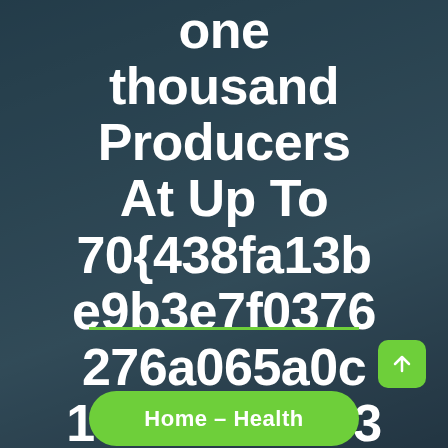one thousand Producers At Up To 70{438fa13be9b3e7f0376276a065a0c1969841d3c3715da9d9faa374e14cc72fab} Off
Home - Health